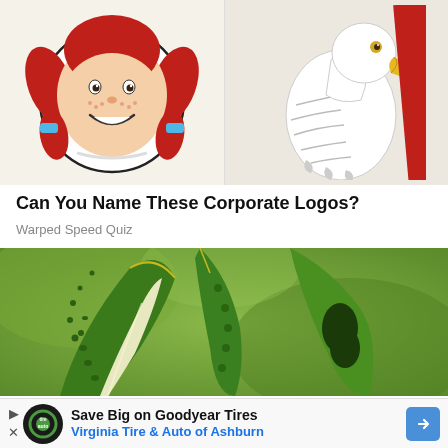[Figure (photo): Two corporate logo stickers side by side: left shows the Wendy's girl mascot with red hair and blue ribbons on a cream background; right shows a bald eagle illustration on a light background with a red diagonal stripe visible at the edge.]
Can You Name These Corporate Logos?
Warped Speed Quiz
[Figure (photo): Close-up photograph of a cut bitter melon (bitter gourd) showing the green bumpy exterior and white interior flesh, with seeds and green spines visible, set against a blurred green background.]
[Figure (infographic): Advertisement bar: Save Big on Goodyear Tires - Virginia Tire & Auto of Ashburn, with a circular Tire Auto logo and a blue arrow button.]